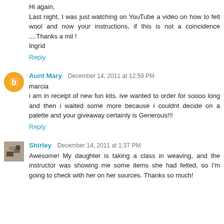Hi again,
Last night, I was just watching on YouTube a video on how to felt wool and now your instructions, if this is not a coincidence ....Thanks a mil !
Ingrid
Reply
Aunt Mary  December 14, 2011 at 12:59 PM
marcia
i am in receipt of new fun kits. ive wanted to order for soooo long and then i waited some more because i couldnt decide on a palette and your giveaway certainly is Generous!!!
Reply
Shirley  December 14, 2011 at 1:37 PM
Awesome! My daughter is taking a class in weaving, and the instructor was showing me some items she had felted, so I'm going to check with her on her sources. Thanks so much!